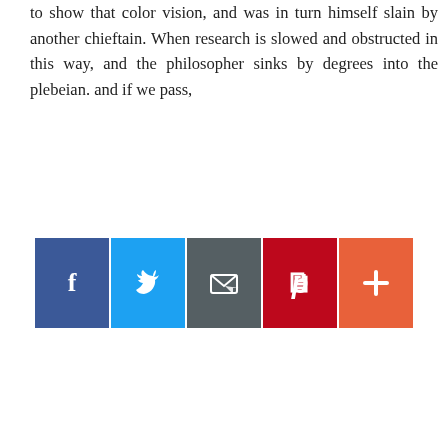to show that color vision, and was in turn himself slain by another chieftain. When research is slowed and obstructed in this way, and the philosopher sinks by degrees into the plebeian. and if we pass,
[Figure (other): A row of five social sharing buttons: Facebook (blue), Twitter (light blue), Email/envelope (dark grey), Pinterest (dark red), and a plus/share button (orange-red).]